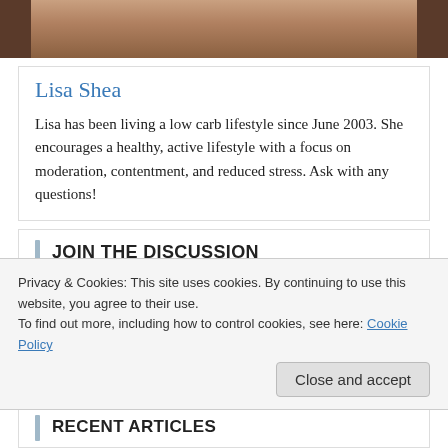[Figure (photo): Partial view of a person's photo — bottom portion of face/shoulders visible at top of page]
Lisa Shea
Lisa has been living a low carb lifestyle since June 2003. She encourages a healthy, active lifestyle with a focus on moderation, contentment, and reduced stress. Ask with any questions!
JOIN THE DISCUSSION
Privacy & Cookies: This site uses cookies. By continuing to use this website, you agree to their use.
To find out more, including how to control cookies, see here: Cookie Policy
RECENT ARTICLES